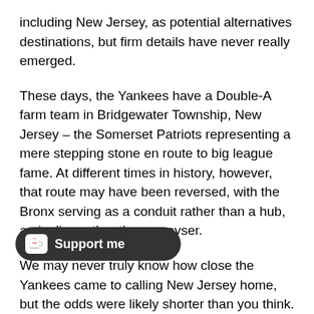including New Jersey, as potential alternatives destinations, but firm details have never really emerged.
These days, the Yankees have a Double-A farm team in Bridgewater Township, New Jersey – the Somerset Patriots representing a mere stepping stone en route to big league fame. At different times in history, however, that route may have been reversed, with the Bronx serving as a conduit rather than a hub, a pipeline rather than a geyser.
We may never truly know how close the Yankees came to calling New Jersey home, but the odds were likely shorter than you think. Oh, and the Yankees own their new stadium, so they will not be rocking up at the Meadowlands anytime soon.
[Figure (other): Support me button widget with coffee cup icon on dark rounded background]
erlocking NY hats, then, because they are unlikely to lose value anytime